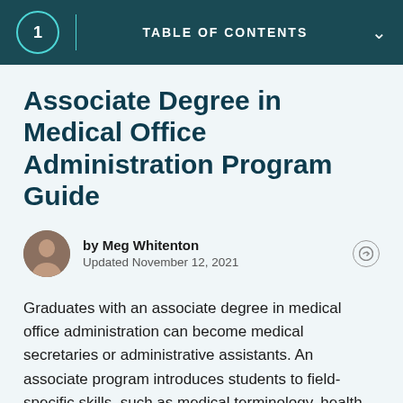1  TABLE OF CONTENTS
Associate Degree in Medical Office Administration Program Guide
by Meg Whitenton
Updated November 12, 2021
Graduates with an associate degree in medical office administration can become medical secretaries or administrative assistants. An associate program introduces students to field-specific skills, such as medical terminology, health records management, and